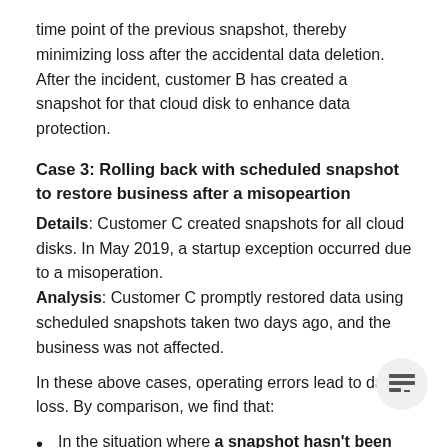time point of the previous snapshot, thereby minimizing loss after the accidental data deletion. After the incident, customer B has created a snapshot for that cloud disk to enhance data protection.
Case 3: Rolling back with scheduled snapshot to restore business after a misopeartion
Details: Customer C created snapshots for all cloud disks. In May 2019, a startup exception occurred due to a misoperation. Analysis: Customer C promptly restored data using scheduled snapshots taken two days ago, and the business was not affected.
In these above cases, operating errors lead to data loss. By comparison, we find that:
In the situation where a snapshot hasn't been created, data recovery is difficult when a server or cloud disk exception occurs, causing major loss.
In the situation where a snapshot has been created, data